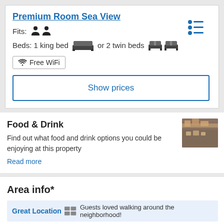Premium Room Sea View
Fits: (2 person icons)
Beds: 1 king bed (king bed icon) or 2 twin beds (twin bed icons)
Free WiFi
Show prices
Food & Drink
Find out what food and drink options you could be enjoying at this property
Read more
Area info*
Great Location  Guests loved walking around the neighborhood!